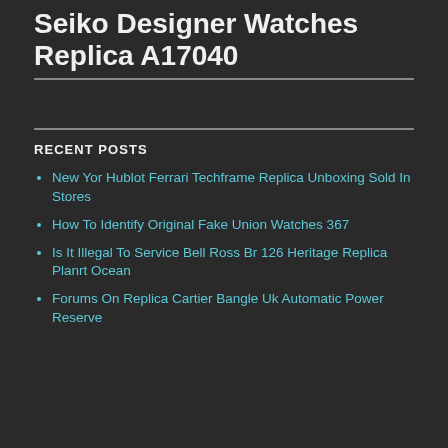Seiko Designer Watches Replica A17040
RECENT POSTS
New Yor Hublot Ferrari Techframe Replica Unboxing Sold In Stores
How To Identify Original Fake Union Watches 367
Is It Illegal To Service Bell Ross Br 126 Heritage Replica Planrt Ocean
Forums On Replica Cartier Bangle Uk Automatic Power Reserve